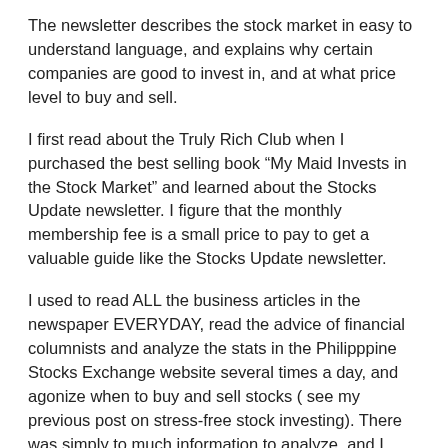The newsletter describes the stock market in easy to understand language, and explains why certain companies are good to invest in, and at what price level to buy and sell.
I first read about the Truly Rich Club when I purchased the best selling book “My Maid Invests in the Stock Market” and learned about the Stocks Update newsletter. I figure that the monthly membership fee is a small price to pay to get a valuable guide like the Stocks Update newsletter.
I used to read ALL the business articles in the newspaper EVERYDAY, read the advice of financial columnists and analyze the stats in the Philipppine Stocks Exchange website several times a day, and agonize when to buy and sell stocks ( see my previous post on stress-free stock investing). There was simply to much information to analyze, and I didn’t know if my analysis was correct!
So the prospect of having a short updated guide to investing